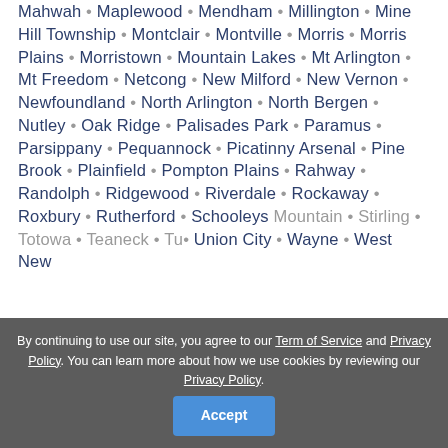Mahwah • Maplewood • Mendham • Millington • Mine Hill Township • Montclair • Montville • Morris • Morris Plains • Morristown • Mountain Lakes • Mt Arlington • Mt Freedom • Netcong • New Milford • New Vernon • Newfoundland • North Arlington • North Bergen • Nutley • Oak Ridge • Palisades Park • Paramus • Parsippany • Pequannock • Picatinny Arsenal • Pine Brook • Plainfield • Pompton Plains • Rahway • Randolph • Ridgewood • Riverdale • Rockaway • Roxbury • Rutherford • Schooleys Mountain • Stirling • Totowa • Teaneck • Union City • Wayne • West New York
By continuing to use our site, you agree to our Term of Service and Privacy Policy. You can learn more about how we use cookies by reviewing our Privacy Policy. Accept